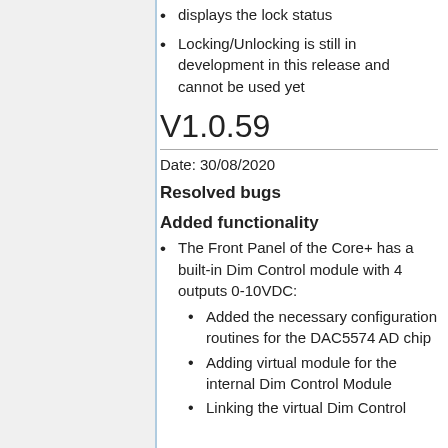displays the lock status
Locking/Unlocking is still in development in this release and cannot be used yet
V1.0.59
Date: 30/08/2020
Resolved bugs
Added functionality
The Front Panel of the Core+ has a built-in Dim Control module with 4 outputs 0-10VDC:
Added the necessary configuration routines for the DAC5574 AD chip
Adding virtual module for the internal Dim Control Module
Linking the virtual Dim Control